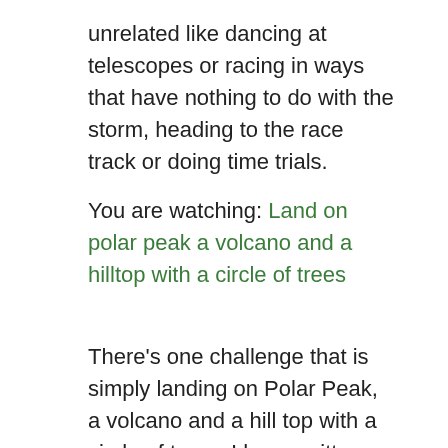unrelated like dancing at telescopes or racing in ways that have nothing to do with the storm, heading to the race track or doing time trials.
You are watching: Land on polar peak a volcano and a hilltop with a circle of trees
There’s one challenge that is simply landing on Polar Peak, a volcano and a hill top with a circle of trees. I have written some pretty basic Fortnite challenge guides in my day, but at this point, I think it’s a safe bet to assume that you know where Polar Peak and the volcano are. But the hill top with a circle of trees? Maybe not.
Go here to see where to complete a lap at a race track. Go here to see where to dance at different